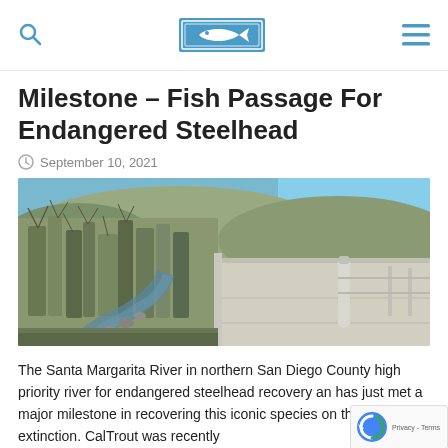Cal Trout logo header with search and menu icons
Milestone – Fish Passage For Endangered Steelhead
September 10, 2021
[Figure (photo): River scene with bare-branched riparian vegetation on the left bank, rocky stream bed, hillside with scrub brush in the background, and a concrete road/bridge structure with a white bollard on the right side.]
The Santa Margarita River in northern San Diego County high priority river for endangered steelhead recovery an has just met a major milestone in recovering this iconic species on the brink of extinction. CalTrout was recently